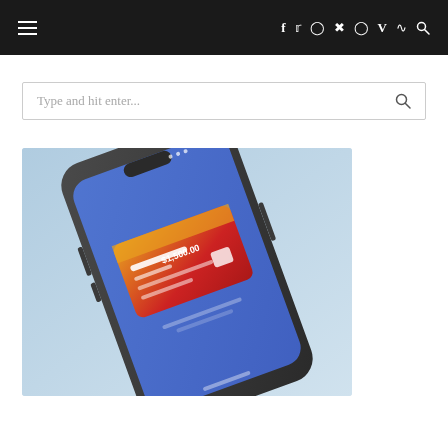Navigation header with hamburger menu and social icons: f, Twitter, Instagram, Pinterest, Snapchat, Vimeo, RSS, Search
Type and hit enter...
[Figure (photo): Smartphone with a blue screen displaying a financial/payment app showing a credit card with amount $1,500.00, placed on a light blue background]